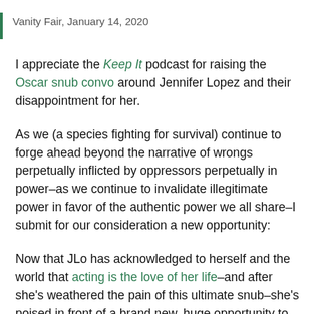Vanity Fair, January 14, 2020
I appreciate the Keep It podcast for raising the Oscar snub convo around Jennifer Lopez and their disappointment for her.
As we (a species fighting for survival) continue to forge ahead beyond the narrative of wrongs perpetually inflicted by oppressors perpetually in power–as we continue to invalidate illegitimate power in favor of the authentic power we all share–I submit for our consideration a new opportunity:
Now that JLo has acknowledged to herself and the world that acting is the love of her life–and after she's weathered the pain of this ultimate snub–she's poised in front of a brand new, huge opportunity to reinvent